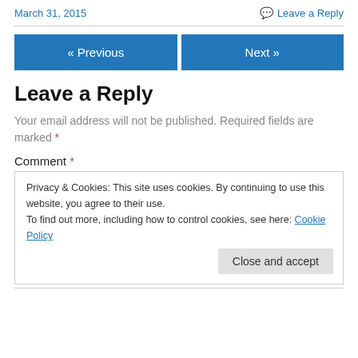March 31, 2015
Leave a Reply
[Figure (other): Navigation buttons: « Previous and Next »]
Leave a Reply
Your email address will not be published. Required fields are marked *
Comment *
Privacy & Cookies: This site uses cookies. By continuing to use this website, you agree to their use.
To find out more, including how to control cookies, see here: Cookie Policy
Close and accept